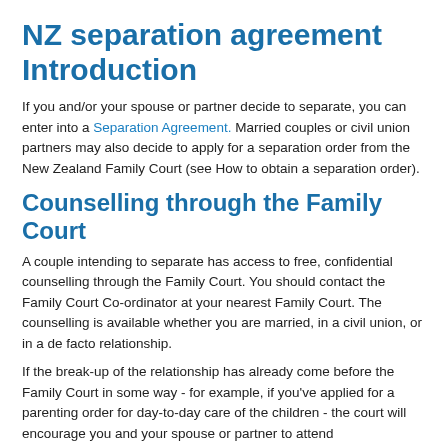NZ separation agreement Introduction
If you and/or your spouse or partner decide to separate, you can enter into a Separation Agreement. Married couples or civil union partners may also decide to apply for a separation order from the New Zealand Family Court (see How to obtain a separation order).
Counselling through the Family Court
A couple intending to separate has access to free, confidential counselling through the Family Court. You should contact the Family Court Co-ordinator at your nearest Family Court. The counselling is available whether you are married, in a civil union, or in a de facto relationship.
If the break-up of the relationship has already come before the Family Court in some way - for example, if you've applied for a parenting order for day-to-day care of the children - the court will encourage you and your spouse or partner to attend